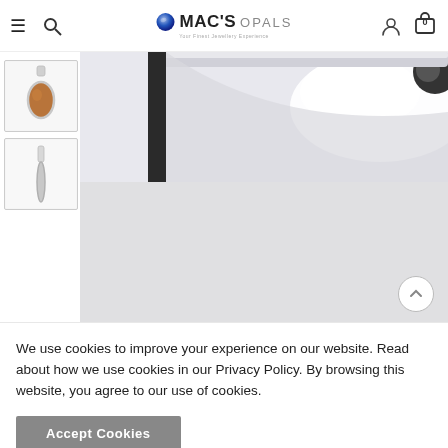Mac's Opals — navigation header with hamburger menu, search, logo, account, and cart icons
[Figure (photo): Small thumbnail of an opal pendant set in silver — front view showing teardrop-shaped brown opal stone with silver setting]
[Figure (photo): Small thumbnail of the opal pendant — side/back view showing the silver bail and setting]
[Figure (photo): Main large product image of a silver opal pendant, zoomed view showing reflective silver setting with bright light reflection; the stone and bail are visible at edges; white/light grey background]
We use cookies to improve your experience on our website. Read about how we use cookies in our Privacy Policy. By browsing this website, you agree to our use of cookies.
Accept Cookies